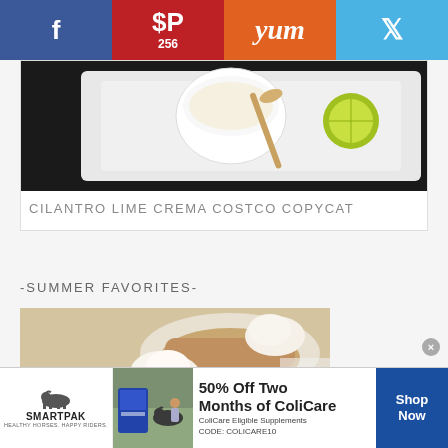[Figure (other): Social share bar with Facebook, Pinterest (256), Yum, and Twitter buttons]
[Figure (photo): Cilantro lime crema in white bowl with lime and spoon on white plate]
CILANTRO LIME CREMA COSTCO COPYCAT
-SUMMER FAVORITES-
[Figure (photo): Peach cobbler or pie in dish with ice cream scoop on plate]
[Figure (other): SmartPak advertisement: 50% Off Two Months of ColiCare, ColiCare Eligible Supplements, CODE: COLICARE10, Shop Now button]